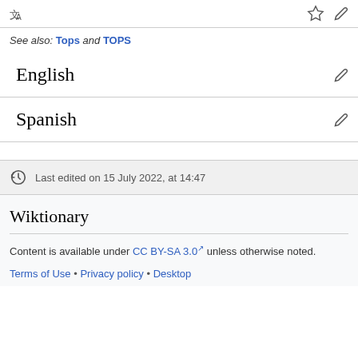See also: Tops and TOPS
English
Spanish
Last edited on 15 July 2022, at 14:47
Wiktionary
Content is available under CC BY-SA 3.0 unless otherwise noted.
Terms of Use • Privacy policy • Desktop